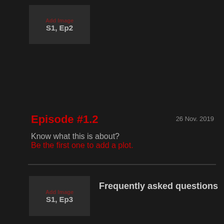[Figure (illustration): Thumbnail placeholder for S1, Ep2 with 'Add Image' text overlay]
Episode #1.2
26 Nov. 2019
Know what this is about?
Be the first one to add a plot.
[Figure (illustration): Thumbnail placeholder for S1, Ep3 with 'Add Image' text overlay]
Frequently asked questions
Episode #1.3
26 Nov. 2019
Know what this is about?
Be the first one to add a plot.
How to download / watch Padre Pio in Hindi/English for free?